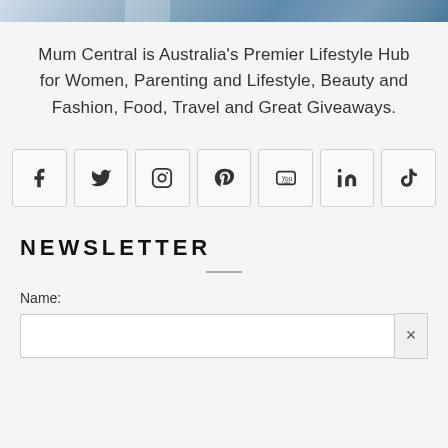[Figure (photo): Partial top of a photo showing a person wearing a blue jacket with colorful knit pattern]
Mum Central is Australia's Premier Lifestyle Hub for Women, Parenting and Lifestyle, Beauty and Fashion, Food, Travel and Great Giveaways.
[Figure (infographic): Row of 7 social media icon buttons: Facebook, Twitter, Instagram, Pinterest, YouTube, LinkedIn, TikTok]
NEWSLETTER
Name: